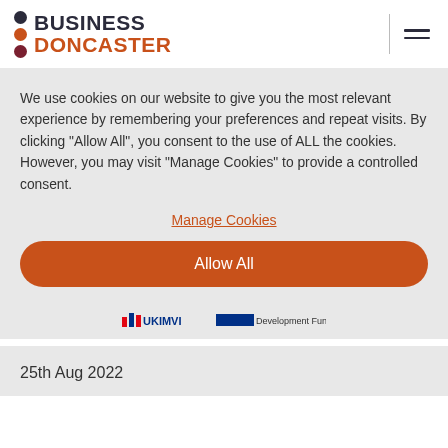[Figure (logo): Business Doncaster logo with three colored dots and text]
We use cookies on our website to give you the most relevant experience by remembering your preferences and repeat visits. By clicking "Allow All", you consent to the use of ALL the cookies. However, you may visit "Manage Cookies" to provide a controlled consent.
Manage Cookies
Allow All
[Figure (logo): Partner logos row including UKIMVI and Development Fund logos]
25th Aug 2022